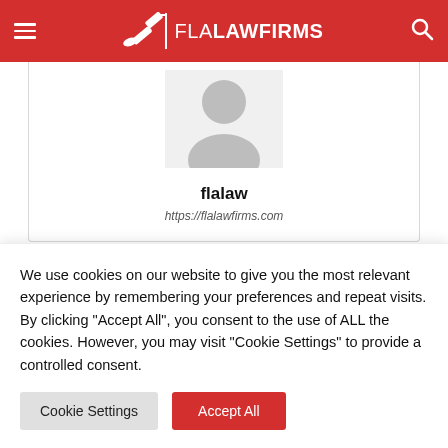FLALAWFIRMS
[Figure (photo): Default avatar silhouette placeholder image]
flalaw
https://flalawfirms.com
[Figure (infographic): Horizontal progress bar split blue and black]
We use cookies on our website to give you the most relevant experience by remembering your preferences and repeat visits. By clicking "Accept All", you consent to the use of ALL the cookies. However, you may visit "Cookie Settings" to provide a controlled consent.
Cookie Settings
Accept All